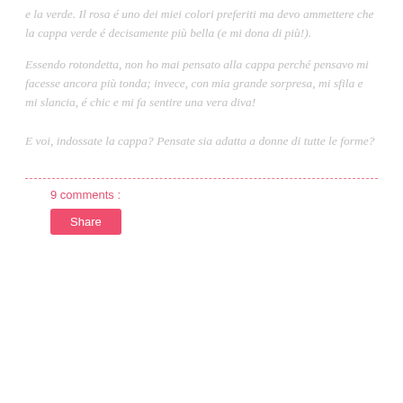e la verde. Il rosa é uno dei miei colori preferiti ma devo ammettere che la cappa verde é decisamente più bella (e mi dona di più!).
Essendo rotondetta, non ho mai pensato alla cappa perché pensavo mi facesse ancora più tonda; invece, con mia grande sorpresa, mi sfila e mi slancia, é chic e mi fa sentire una vera diva!
E voi, indossate la cappa? Pensate sia adatta a donne di tutte le forme?
9 comments :
Share